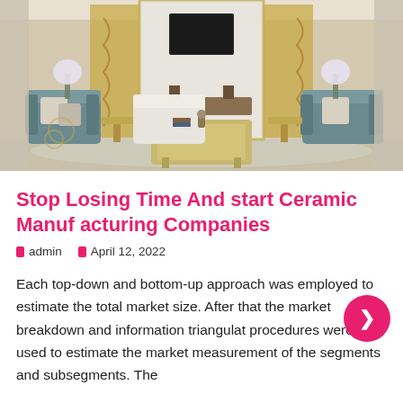[Figure (photo): Interior design photo of a luxury living room with teal/blue armchairs, white sofa, gold coffee table, decorative wall panels, and a mounted TV]
Stop Losing Time And start Ceramic Manufacturing Companies
admin   April 12, 2022
Each top-down and bottom-up approach was employed to estimate the total market size. After that the market breakdown and information triangulation procedures were used to estimate the market measurement of the segments and subsegments. The